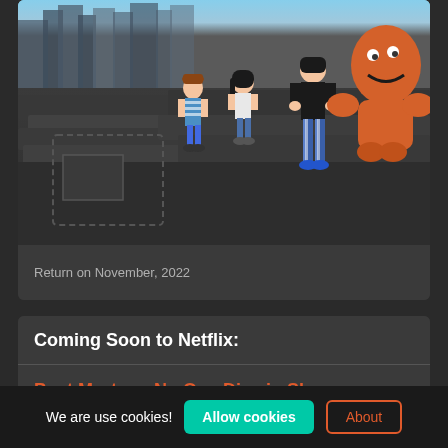[Figure (illustration): Animated scene showing cartoon characters standing on grey rubble/ruins of a city. Characters include a boy in striped shirt, a girl with dark hair, a person in black jacket with blue striped pants, and an orange monster creature. Background shows grey city skyline silhouette.]
Return on November, 2022
Coming Soon to Netflix:
Post Mortem: No One Dies in Skarnes Season 2
We are use cookies!